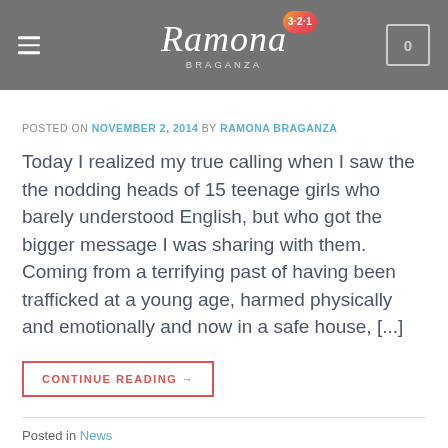Ramona Braganza — 3·2·1 fitness blog header with navigation and cart
POSTED ON NOVEMBER 2, 2014 BY RAMONA BRAGANZA
Today I realized my true calling when I saw the the nodding heads of 15 teenage girls who barely understood English, but who got the bigger message I was sharing with them. Coming from a terrifying past of having been trafficked at a young age, harmed physically and emotionally and now in a safe house, [...]
CONTINUE READING →
Posted in News